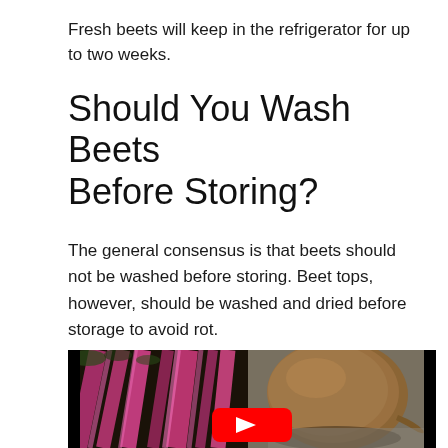Fresh beets will keep in the refrigerator for up to two weeks.
Should You Wash Beets Before Storing?
The general consensus is that beets should not be washed before storing. Beet tops, however, should be washed and dried before storage to avoid rot.
[Figure (photo): Photo of fresh beets with pink/red stalks and a round beet bulb, with a YouTube play button overlay indicating an embedded video.]